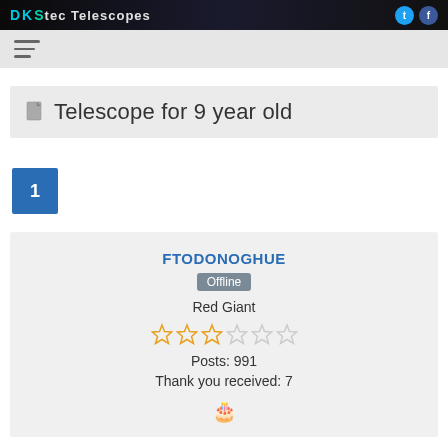[Figure (screenshot): Website header bar with logo 'DKStec Telescopes' and social media icons for Twitter and Facebook]
Navigation bar with hamburger menu icon
Telescope for 9 year old
1
FTODONOGHUE
Offline
Red Giant
Posts: 991
Thank you received: 7